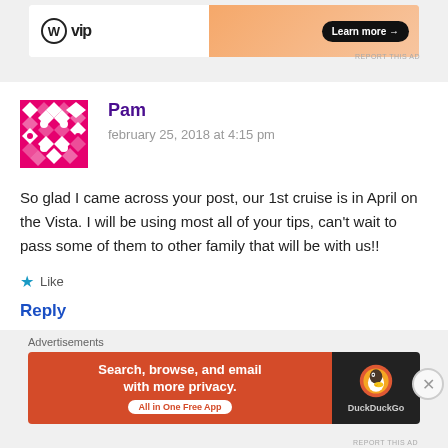[Figure (screenshot): WordPress VIP advertisement banner with 'Learn more' button on gradient background]
[Figure (illustration): Geometric pink/white avatar icon for commenter Pam]
Pam
february 25, 2018 at 4:15 pm
So glad I came across your post, our 1st cruise is in April on the Vista. I will be using most all of your tips, can't wait to pass some of them to other family that will be with us!!
Like
Reply
Advertisements
[Figure (screenshot): DuckDuckGo advertisement: Search, browse, and email with more privacy. All in One Free App]